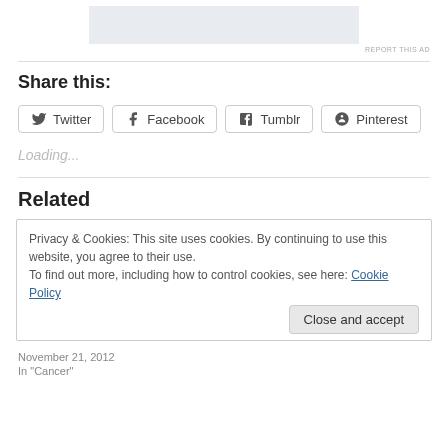[Figure (other): Ad placeholder banner (light blue-gray rectangle)]
REPORT THIS AD
Share this:
Twitter  Facebook  Tumblr  Pinterest
Loading...
Related
Privacy & Cookies: This site uses cookies. By continuing to use this website, you agree to their use.
To find out more, including how to control cookies, see here: Cookie Policy
Close and accept
November 21, 2012
In "Cancer"